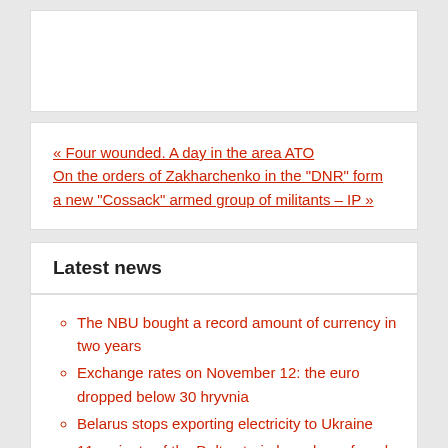« Four wounded. A day in the area ATO
On the orders of Zakharchenko in the "DNR" form a new "Cossack" armed group of militants – IP »
Latest news
The NBU bought a record amount of currency in two years
Exchange rates on November 12: the euro dropped below 30 hryvnia
Belarus stops exporting electricity to Ukraine
11 variants of the Delta strain have been found in Ukraine